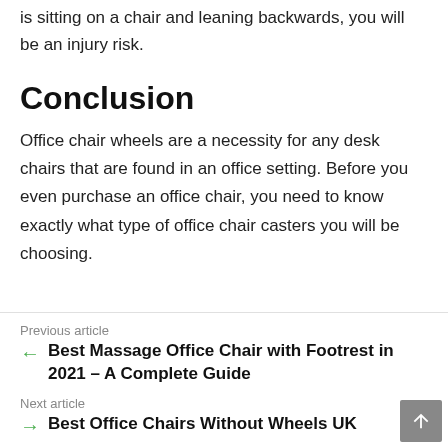is sitting on a chair and leaning backwards, you will be an injury risk.
Conclusion
Office chair wheels are a necessity for any desk chairs that are found in an office setting. Before you even purchase an office chair, you need to know exactly what type of office chair casters you will be choosing.
Previous article
Best Massage Office Chair with Footrest in 2021 – A Complete Guide
Next article
Best Office Chairs Without Wheels UK